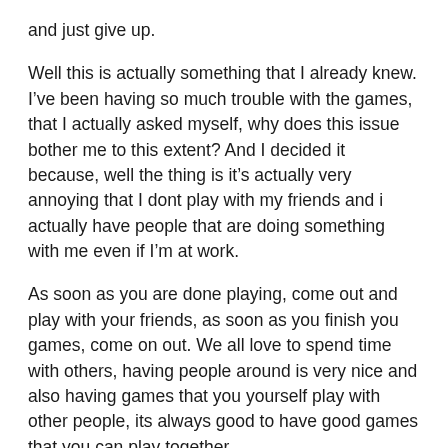and just give up.
Well this is actually something that I already knew. I’ve been having so much trouble with the games, that I actually asked myself, why does this issue bother me to this extent? And I decided it because, well the thing is it’s actually very annoying that I dont play with my friends and i actually have people that are doing something with me even if I’m at work.
As soon as you are done playing, come out and play with your friends, as soon as you finish you games, come on out. We all love to spend time with others, having people around is very nice and also having games that you yourself play with other people, its always good to have good games that you can play together.
Now that i have a proper home workout, i realized that the